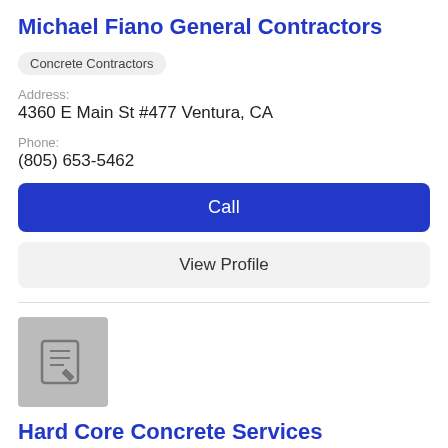Michael Fiano General Contractors
Concrete Contractors
Address:
4360 E Main St #477 Ventura, CA
Phone:
(805) 653-5462
Call
View Profile
[Figure (logo): Gray placeholder logo box with a notepad/checklist icon]
Hard Core Concrete Services
Concrete Contractors
Address: